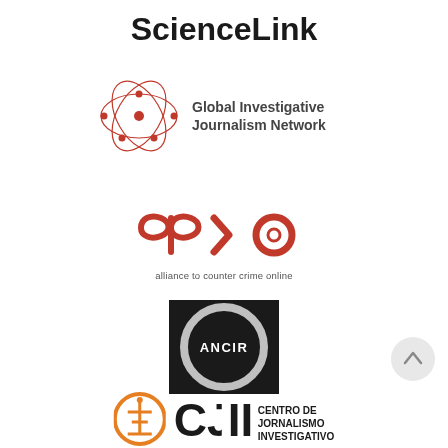[Figure (logo): ScienceLink wordmark in bold black text]
[Figure (logo): Global Investigative Journalism Network logo with circular orbit graphic and text]
[Figure (logo): ACCO (alliance to counter crime online) logo in red with tagline]
[Figure (logo): ANCIR logo on black square background with circular design]
[Figure (logo): CJI Centro de Jornalismo Investigativo logo with orange and black design]
[Figure (other): Circular scroll-to-top arrow button]